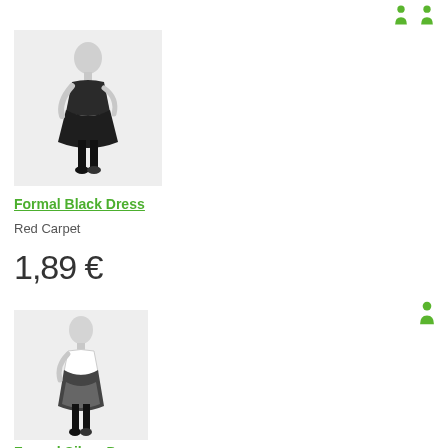[Figure (illustration): Avatar wearing a formal black dress, standing pose on light gray background]
Formal Black Dress
Red Carpet
1,89 €
[Figure (illustration): Avatar wearing a formal silver dress, standing pose on light gray background]
Formal Silver Dress